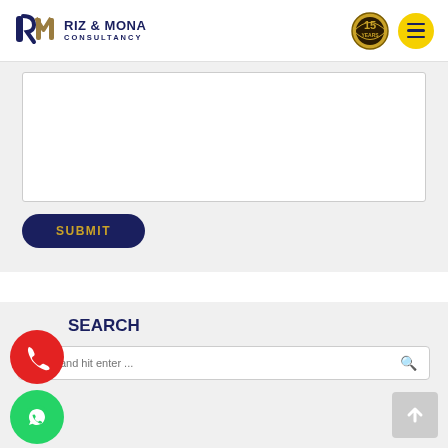[Figure (logo): Riz & Mona Consultancy logo with stylized R and M icon in dark blue and gold, and 15 Years Valuable Experience badge]
[Figure (screenshot): Form textarea (empty) with white background and a SUBMIT button in dark navy with gold text]
SEARCH
[Figure (screenshot): Search bar with placeholder text 'Type and hit enter ...' and search icon]
[Figure (other): Red circular phone call floating button]
[Figure (other): Green circular WhatsApp floating button]
[Figure (other): Grey scroll-to-top button with upward arrow]